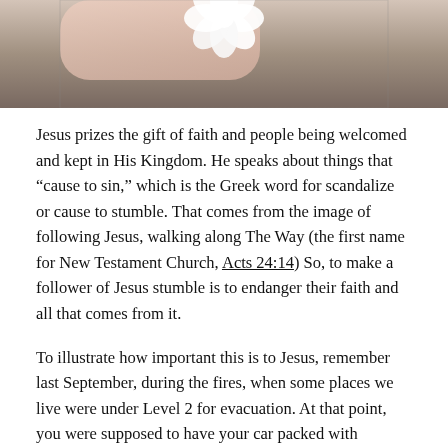[Figure (photo): Cropped photo showing a shell or white flower-like object against a gray/brown background, top portion visible only]
Jesus prizes the gift of faith and people being welcomed and kept in His Kingdom.  He speaks about things that “cause to sin,” which is the Greek word for scandalize or cause to stumble.  That comes from the image of following Jesus, walking along The Way (the first name for New Testament Church, Acts 24:14)  So, to make a follower of Jesus stumble is to endanger their faith and all that comes from it.
To illustrate how important this is to Jesus, remember last September, during the fires, when some places we live were under Level 2 for evacuation.  At that point, you were supposed to have your car packed with whatever was most precious and essential.  Come Level 3, anything else could burn, and you’d get by.  Picture that